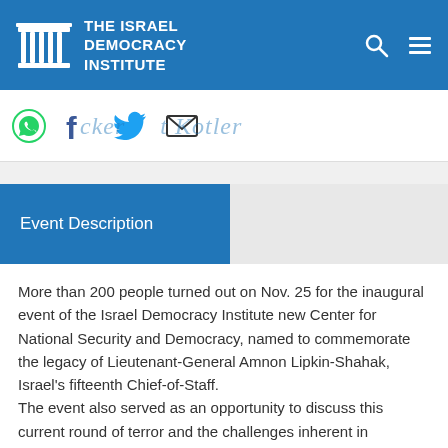THE ISRAEL DEMOCRACY INSTITUTE
[Figure (logo): Israel Democracy Institute logo with pillars icon and text]
cker t Kotler (social share bar with WhatsApp, Facebook, Twitter, Email icons)
Event Description
More than 200 people turned out on Nov. 25 for the inaugural event of the Israel Democracy Institute new Center for National Security and Democracy, named to commemorate the legacy of Lieutenant-General Amnon Lipkin-Shahak, Israel's fifteenth Chief-of-Staff.
The event also served as an opportunity to discuss this current round of terror and the challenges inherent in